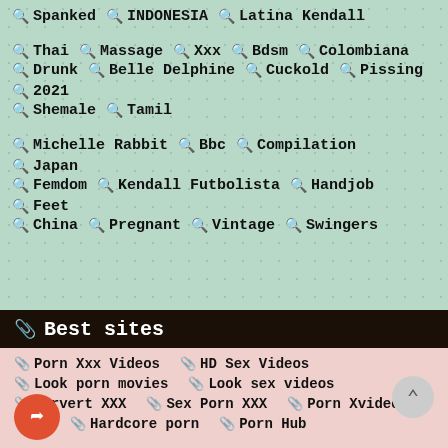Spanked  INDONESIA  Latina Kendall
Thai  Massage  Xxx  Bdsm  Colombiana
Drunk  Belle Delphine  Cuckold  Pissing  2021
Shemale  Tamil
Michelle Rabbit  Bbc  Compilation  Japan
Femdom  Kendall Futbolista  Handjob  Feet
China  Pregnant  Vintage  Swingers
Best sites
Porn Xxx Videos  HD Sex Videos
Look porn movies  Look sex videos
Pervert XXX  Sex Porn XXX  Porn Xvideos
Hardcore porn  Porn Hub